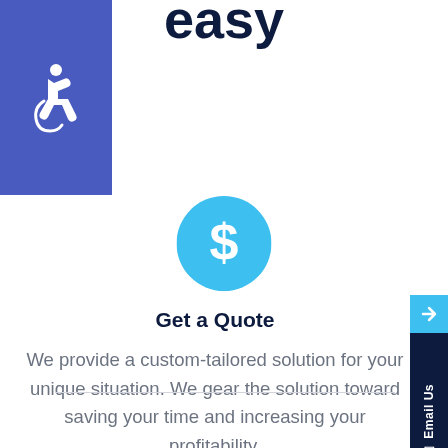easy
[Figure (illustration): Blue accessibility wheelchair icon on purple/blue square background, partially cropped at left edge]
[Figure (illustration): Teal/cyan circle with white dollar sign ($) icon in center]
Get a Quote
We provide a custom-tailored solution for your unique situation. We gear the solution toward saving your time and increasing your profitability.
[Figure (illustration): Right-side panel: cyan arrow button and dark navy Email Us vertical text tab]